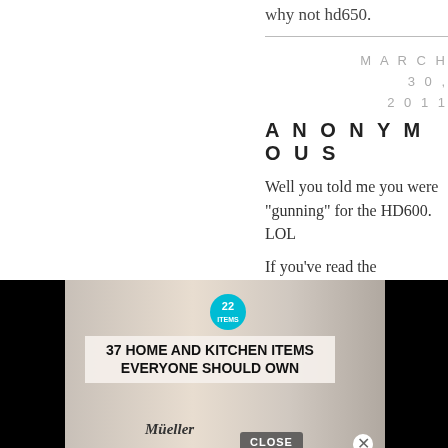why not hd650.
MARCH 30, 2011
ANONYMOUS
Well you told me you were "gunning" for the HD600. LOL
If you've read the
[Figure (infographic): Advertisement banner: 37 HOME AND KITCHEN ITEMS EVERYONE SHOULD OWN with Mueller branding and kitchen items photo. Has a CLOSE button and X dismiss button.]